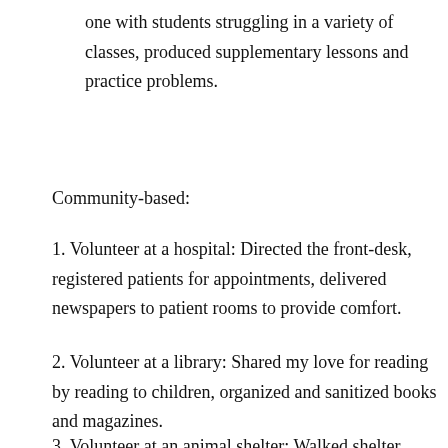one with students struggling in a variety of classes, produced supplementary lessons and practice problems.
Community-based:
Volunteer at a hospital: Directed the front-desk, registered patients for appointments, delivered newspapers to patient rooms to provide comfort.
Volunteer at a library: Shared my love for reading by reading to children, organized and sanitized books and magazines.
Volunteer at an animal shelter: Walked shelter